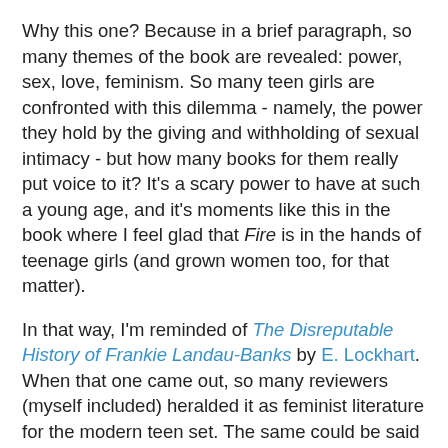Why this one? Because in a brief paragraph, so many themes of the book are revealed: power, sex, love, feminism. So many teen girls are confronted with this dilemma - namely, the power they hold by the giving and withholding of sexual intimacy - but how many books for them really put voice to it? It's a scary power to have at such a young age, and it's moments like this in the book where I feel glad that Fire is in the hands of teenage girls (and grown women too, for that matter).
In that way, I'm reminded of The Disreputable History of Frankie Landau-Banks by E. Lockhart. When that one came out, so many reviewers (myself included) heralded it as feminist literature for the modern teen set. The same could be said of Graceling and Fire.
Likewise, I'm reminded of Megan Whalen Turner's work as well. Adult characters and adult themes that somehow still reach out to the teen reader. In Turner's work, the balance of power is such a prevalent theme. It's no wonder that teens are drawn to the works of Cashore, Lockhart, and Turner: